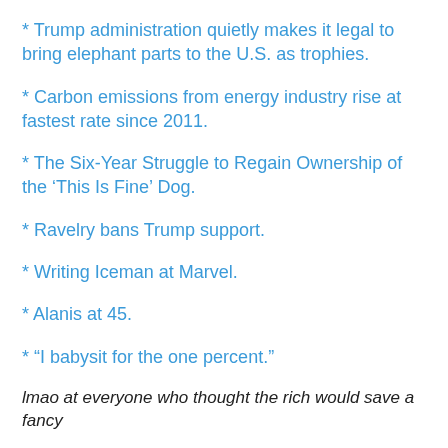* Trump administration quietly makes it legal to bring elephant parts to the U.S. as trophies.
* Carbon emissions from energy industry rise at fastest rate since 2011.
* The Six-Year Struggle to Regain Ownership of the ‘This Is Fine’ Dog.
* Ravelry bans Trump support.
* Writing Iceman at Marvel.
* Alanis at 45.
* “I babysit for the one percent.”
lmao at everyone who thought the rich would save a fancy